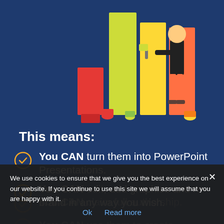[Figure (illustration): Illustration of a person painting colorful bar chart bars in red, yellow, green, and orange on a dark blue background]
This means:
You CAN turn them into PowerPoint Presentations.
You CAN edit, add graphics and re-brand in any way you wish.
You CAN claim full authorship.
You CAN use them to create
We use cookies to ensure that we give you the best experience on our website. If you continue to use this site we will assume that you are happy with it.
Ok   Read more